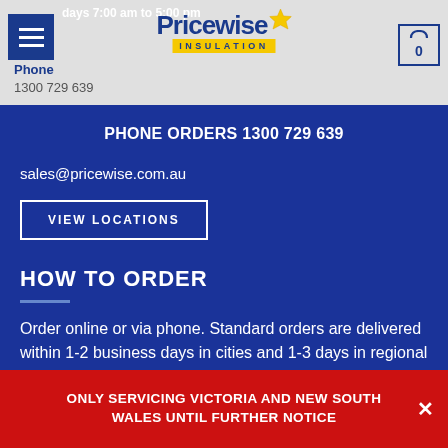days 7:00 am to 5:00 pm
[Figure (logo): Pricewise Insulation logo with star and yellow banner]
Phone
1300 729 639
PHONE ORDERS 1300 729 639
sales@pricewise.com.au
VIEW LOCATIONS
HOW TO ORDER
Order online or via phone. Standard orders are delivered within 1-2 business days in cities and 1-3 days in regional areas. Warehouse pickups are available from 80+ locations
ONLY SERVICING VICTORIA AND NEW SOUTH WALES UNTIL FURTHER NOTICE